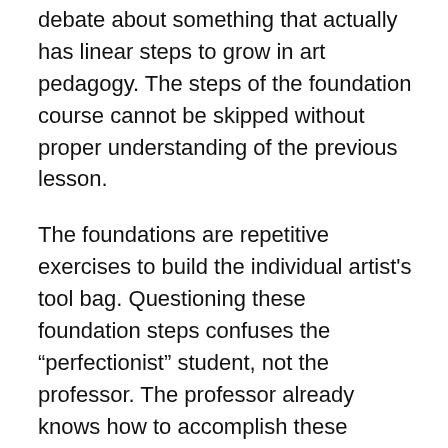debate about something that actually has linear steps to grow in art pedagogy. The steps of the foundation course cannot be skipped without proper understanding of the previous lesson.
The foundations are repetitive exercises to build the individual artist's tool bag. Questioning these foundation steps confuses the “perfectionist” student, not the professor. The professor already knows how to accomplish these steps. The foundations are the foundations. These courses are arranged to crescendo based on the previous lessons learned. Foundation courses work much like learning your addition and subtraction math facts. Imagine trying to learn addition and they constantly challenge the previous fact learned. That is the difficulty with challenging the foundation classes, especially when there are so many facts to be learned before a true challenge to the art-